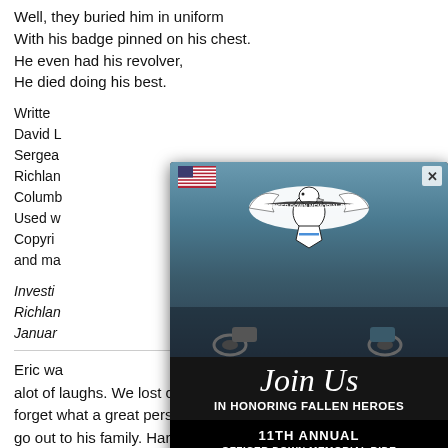Well, they buried him in uniform
With his badge pinned on his chest.
He even had his revolver,
He died doing his best.
Written by
David L...
Sergeant...
Richland...
Columbi...
Used w...
Copyright...
and ma...
[Figure (infographic): Officer Down Memorial Ride advertisement popup. Shows motorcycles with American flag in background. Eagle logo with banner reading OFFICER DOWN MEMORIAL RIDE. Text: Join Us IN HONORING FALLEN HEROES, 11TH ANNUAL OFFICER DOWN MEMORIAL RIDE SEPTEMBER 24, 2022. Red REGISTER NOW button.]
Investi...
Richlan...
Januar...
Eric wa... t of fun together we shared alot of laughs. We lost contact after high school but i will never forget what a great person he was. My thoughts and prayers go out to his family. Harold Stewart.